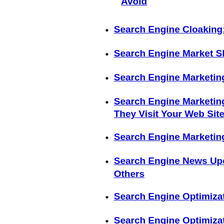Avoid
Search Engine Cloaking: Is Cloaking The
Search Engine Market Shares In Europe
Search Engine Marketing - Top 5 Tips for
Search Engine Marketing 101: What Sear... They Visit Your Web Site
Search Engine Marketing 102: Boosting P
Search Engine News Update: AltaVista, A... Others
Search Engine Optimization - Seven Steps
Search Engine Optimization (SEO): The P
Search Engine Optimization: Which File I
Search Engine Results: The Importance O